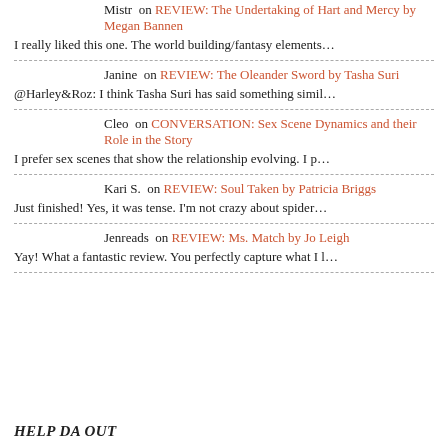Mistr on REVIEW: The Undertaking of Hart and Mercy by Megan Bannen
I really liked this one. The world building/fantasy elements...
Janine on REVIEW: The Oleander Sword by Tasha Suri
@Harley&Roz: I think Tasha Suri has said something simil...
Cleo on CONVERSATION: Sex Scene Dynamics and their Role in the Story
I prefer sex scenes that show the relationship evolving. I p...
Kari S. on REVIEW: Soul Taken by Patricia Briggs
Just finished! Yes, it was tense. I'm not crazy about spider...
Jenreads on REVIEW: Ms. Match by Jo Leigh
Yay! What a fantastic review. You perfectly capture what I l...
HELP DA OUT